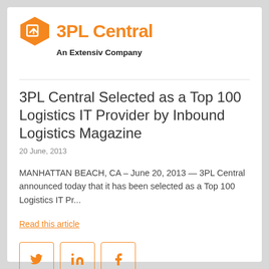[Figure (logo): 3PL Central logo — orange hexagon with arrow icon and orange bold text '3PL Central']
An Extensiv Company
3PL Central Selected as a Top 100 Logistics IT Provider by Inbound Logistics Magazine
20 June, 2013
MANHATTAN BEACH, CA – June 20, 2013 — 3PL Central announced today that it has been selected as a Top 100 Logistics IT Pr...
Read this article
[Figure (illustration): Three social media share buttons in orange-bordered rounded squares: Twitter (bird icon), LinkedIn (in icon), Facebook (f icon)]